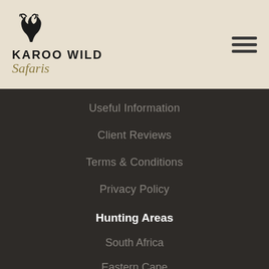[Figure (logo): Karoo Wild Safaris logo with kudu silhouette above the text KAROO WILD in bold uppercase and Safaris in italic script below]
Useful Information
Client Reviews
Terms & Conditions
Privacy Policy
Hunting Areas
South Africa
Eastern Cape
Free State
Zambia
Zimbabwe